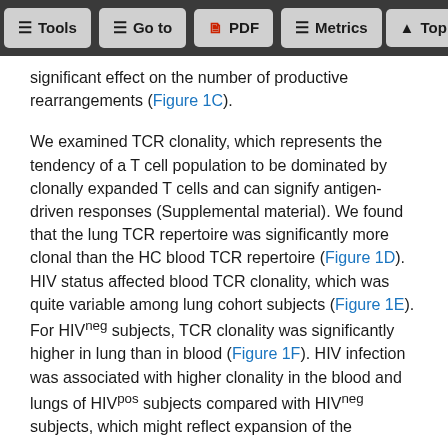Tools  Go to  PDF  Metrics  Top
significant effect on the number of productive rearrangements (Figure 1C).
We examined TCR clonality, which represents the tendency of a T cell population to be dominated by clonally expanded T cells and can signify antigen-driven responses (Supplemental material). We found that the lung TCR repertoire was significantly more clonal than the HC blood TCR repertoire (Figure 1D). HIV status affected blood TCR clonality, which was quite variable among lung cohort subjects (Figure 1E). For HIVneg subjects, TCR clonality was significantly higher in lung than in blood (Figure 1F). HIV infection was associated with higher clonality in the blood and lungs of HIVpos subjects compared with HIVneg subjects, which might reflect expansion of the